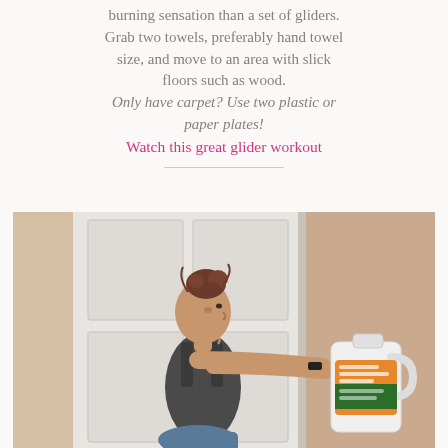burning sensation than a set of gliders. Grab two towels, preferably hand towel size, and move to an area with slick floors such as wood. Only have carpet? Use two plastic or paper plates! Watch this great glider workout
[Figure (photo): A woman in workout clothes holding a large laundry detergent jug with both arms extended forward, standing in front of a white paneled door.]